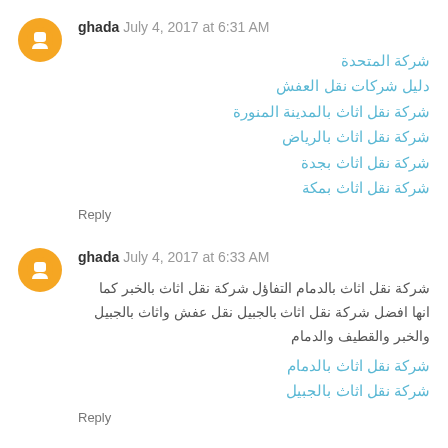ghada July 4, 2017 at 6:31 AM
شركة المتحدة
دليل شركات نقل العفش
شركة نقل اثاث بالمدينة المنورة
شركة نقل اثاث بالرياض
شركة نقل اثاث بجدة
شركة نقل اثاث بمكة
Reply
ghada July 4, 2017 at 6:33 AM
شركة نقل اثاث بالدمام التفاؤل شركة نقل اثاث بالخبر كما انها افضل شركة نقل اثاث بالجبيل نقل عفش واثاث بالجبيل والخبر والقطيف والدمام
شركة نقل اثاث بالدمام
شركة نقل اثاث بالجبيل
Reply